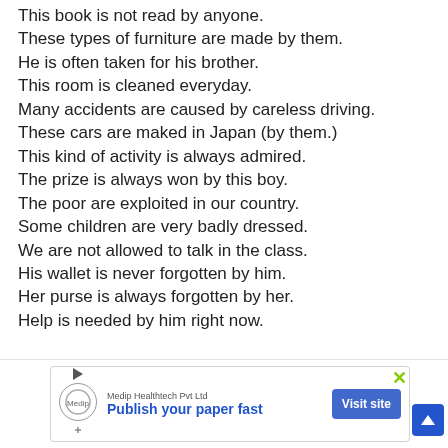This book is not read by anyone.
These types of furniture are made by them.
He is often taken for his brother.
This room is cleaned everyday.
Many accidents are caused by careless driving.
These cars are maked in Japan (by them.)
This kind of activity is always admired.
The prize is always won by this boy.
The poor are exploited in our country.
Some children are very badly dressed.
We are not allowed to talk in the class.
His wallet is never forgotten by him.
Her purse is always forgotten by her.
Help is needed by him right now.
[Figure (screenshot): Advertisement banner for Medip Healthtech Pvt Ltd with text 'Publish your paper fast' and a 'Visit site' button]